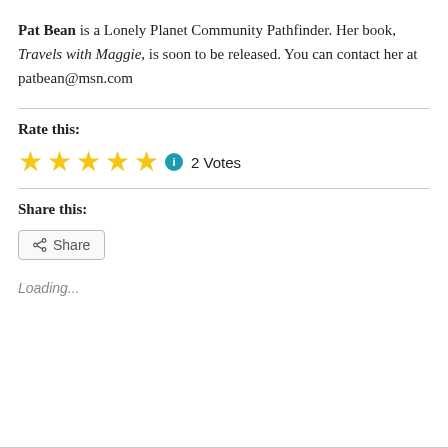Pat Bean is a Lonely Planet Community Pathfinder. Her book, Travels with Maggie, is soon to be released. You can contact her at patbean@msn.com
Rate this:
[Figure (other): Four gold star rating icons followed by a blue info circle, then '2 Votes' text]
Share this:
[Figure (other): Share button with share icon and label 'Share']
Loading...